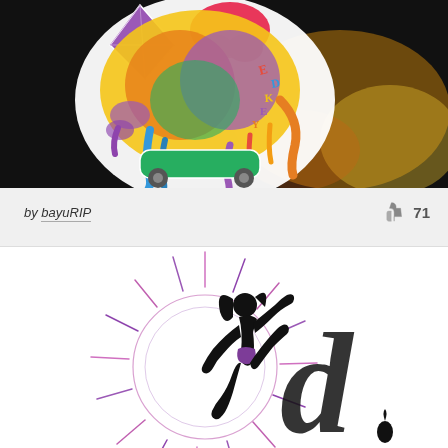[Figure (illustration): Colorful psychedelic sticker-style illustration of a skateboard with dripping paint, cartoon character elements, letters, on a dark background with vivid colors]
by bayuRIP   👍 71
[Figure (illustration): Black silhouette of a dancing/leaping female figure with sun-ray design in purple and pink behind her, and a large stylized letter D, on white background]